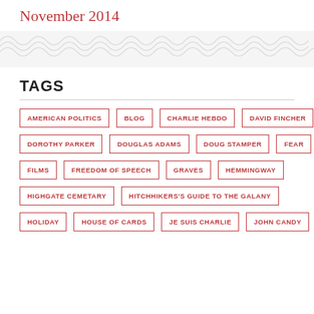November 2014
TAGS
AMERICAN POLITICS
BLOG
CHARLIE HEBDO
DAVID FINCHER
DOROTHY PARKER
DOUGLAS ADAMS
DOUG STAMPER
FEAR
FILMS
FREEDOM OF SPEECH
GRAVES
HEMMINGWAY
HIGHGATE CEMETARY
HITCHHIKERS'S GUIDE TO THE GALANY
HOLIDAY
HOUSE OF CARDS
JE SUIS CHARLIE
JOHN CANDY